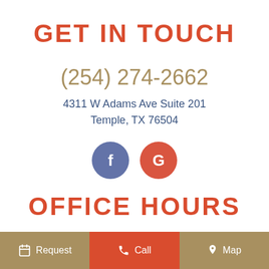GET IN TOUCH
(254) 274-2662
4311 W Adams Ave Suite 201
Temple, TX 76504
[Figure (illustration): Two circular social media icons: Facebook (blue) with letter f, and Google (red) with letter G]
OFFICE HOURS
Monday   8:00 am – 5:00 pm
Request   Call   Map